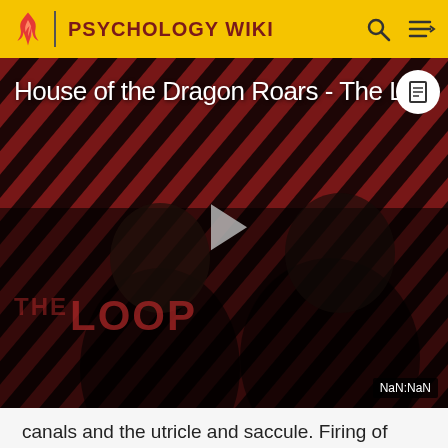PSYCHOLOGY WIKI
[Figure (screenshot): Video thumbnail for 'House of the Dragon Roars - The L...' with dark background showing diagonal red/black stripes, two figures, a play button in the center, 'THE LOOP' text overlay, and NaN:NaN timestamp badge.]
canals and the utricle and saccule. Firing of vestibular hair cells stimulates the Vestibular portion of the eighth cranial nerve.[7]
Damage to the human ear